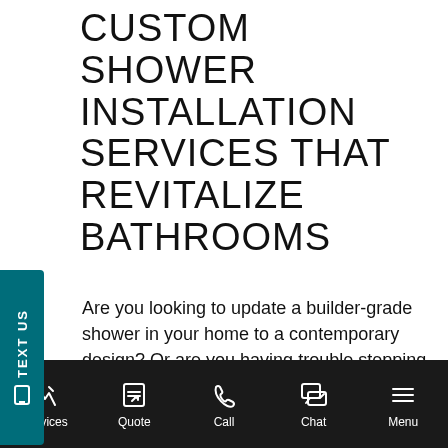CUSTOM SHOWER INSTALLATION SERVICES THAT REVITALIZE BATHROOMS
Are you looking to update a builder-grade shower in your home to a contemporary design? Or are you having trouble stepping over a high tub wall and looking for a safe-showering solution? No matter what the goals of your shower installation are, you can expect results from the Jacuzzi Bath Remodel of Portland team. Serving homeowners in Portland, Oregon, and
Services  Quote  Call  Chat  Menu